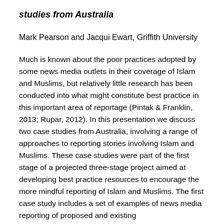studies from Australia
Mark Pearson and Jacqui Ewart, Griffith University
Much is known about the poor practices adopted by some news media outlets in their coverage of Islam and Muslims, but relatively little research has been conducted into what might constitute best practice in this important area of reportage (Pintak & Franklin, 2013; Rupar, 2012). In this presentation we discuss two case studies from Australia, involving a range of approaches to reporting stories involving Islam and Muslims. These case studies were part of the first stage of a projected three-stage project aimed at developing best practice resources to encourage the more mindful reporting of Islam and Muslims. The first case study includes a set of examples of news media reporting of proposed and existing